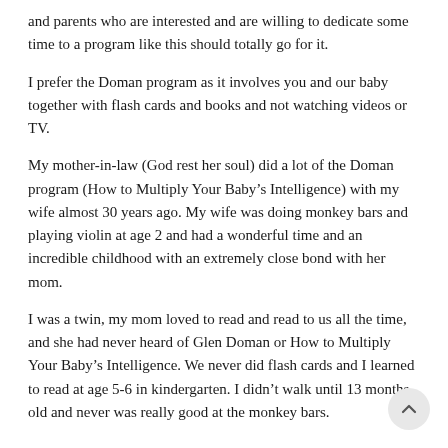and parents who are interested and are willing to dedicate some time to a program like this should totally go for it.
I prefer the Doman program as it involves you and our baby together with flash cards and books and not watching videos or TV.
My mother-in-law (God rest her soul) did a lot of the Doman program (How to Multiply Your Baby’s Intelligence) with my wife almost 30 years ago. My wife was doing monkey bars and playing violin at age 2 and had a wonderful time and an incredible childhood with an extremely close bond with her mom.
I was a twin, my mom loved to read and read to us all the time, and she had never heard of Glen Doman or How to Multiply Your Baby’s Intelligence. We never did flash cards and I learned to read at age 5-6 in kindergarten. I didn’t walk until 13 months old and never was really good at the monkey bars.